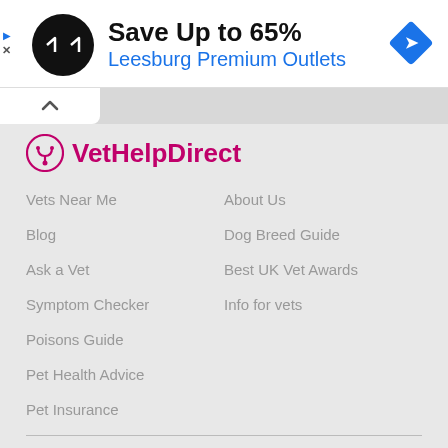[Figure (screenshot): Advertisement banner: black circular icon with double arrow, Save Up to 65% heading, Leesburg Premium Outlets subtitle in blue, blue diamond navigation icon on right]
[Figure (logo): VetHelpDirect logo with pink stethoscope icon and magenta bold text]
Vets Near Me
About Us
Blog
Dog Breed Guide
Ask a Vet
Best UK Vet Awards
Symptom Checker
Info for vets
Poisons Guide
Pet Health Advice
Pet Insurance
Cookie Control
VetHelpDirect Video